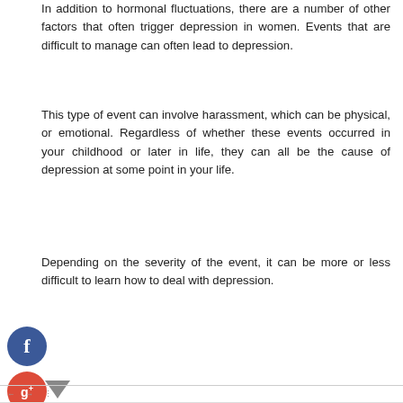In addition to hormonal fluctuations, there are a number of other factors that often trigger depression in women. Events that are difficult to manage can often lead to depression.
This type of event can involve harassment, which can be physical, or emotional. Regardless of whether these events occurred in your childhood or later in life, they can all be the cause of depression at some point in your life.
Depending on the severity of the event, it can be more or less difficult to learn how to deal with depression.
[Figure (other): Social media share icons: Facebook (blue circle with f), Google+ (red circle with g+), Twitter (blue circle with bird), and a dark plus circle. A small tag/label icon is also shown. A 'Business and Management' category label with underline.]